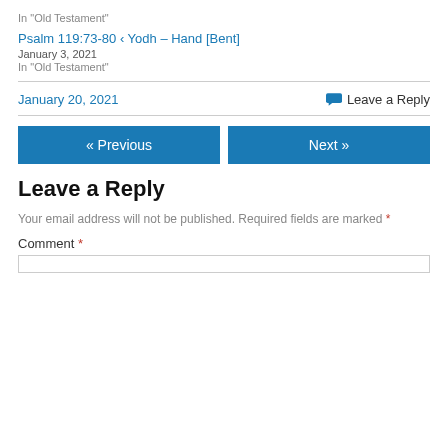In "Old Testament"
Psalm 119:73-80 ‹ Yodh – Hand [Bent]
January 3, 2021
In "Old Testament"
January 20, 2021
Leave a Reply
« Previous
Next »
Leave a Reply
Your email address will not be published. Required fields are marked *
Comment *